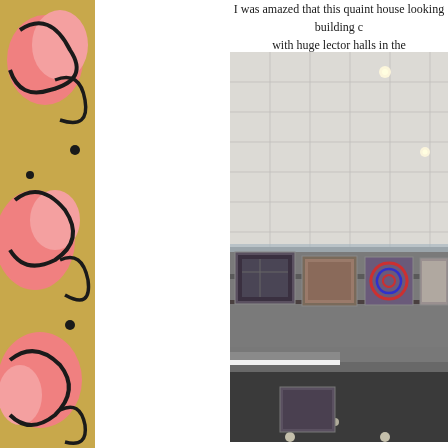I was amazed that this quaint house looking building could be filled with huge lector halls in the
[Figure (illustration): Abstract decorative illustration with pink blob shapes and black curvy lines on a golden-yellow background, running vertically along the left side of the page]
[Figure (photo): Interior photograph of a multi-story building atrium or gallery space with a white tile ceiling, recessed lighting, glass railing on an upper mezzanine level, and framed artworks/quilts hanging on gray walls]